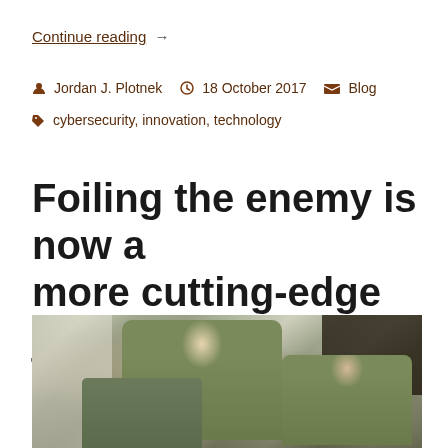Continue reading →
Jordan J. Plotnek   18 October 2017   Blog   cybersecurity, innovation, technology
Foiling the enemy is now a more cutting-edge job
[Figure (photo): Soldiers in camouflage uniforms working inside a military tent, looking down at equipment or documents on a table.]